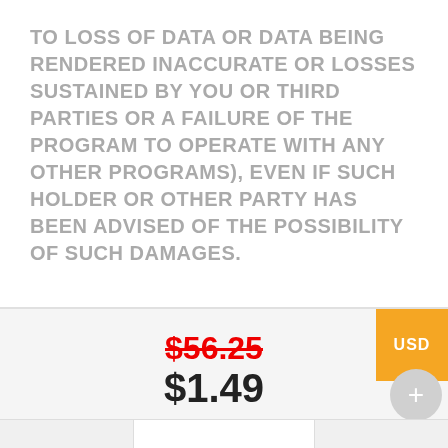TO LOSS OF DATA OR DATA BEING RENDERED INACCURATE OR LOSSES SUSTAINED BY YOU OR THIRD PARTIES OR A FAILURE OF THE PROGRAM TO OPERATE WITH ANY OTHER PROGRAMS), EVEN IF SUCH HOLDER OR OTHER PARTY HAS BEEN ADVISED OF THE POSSIBILITY OF SUCH DAMAGES.
USD
$56.25 $1.49